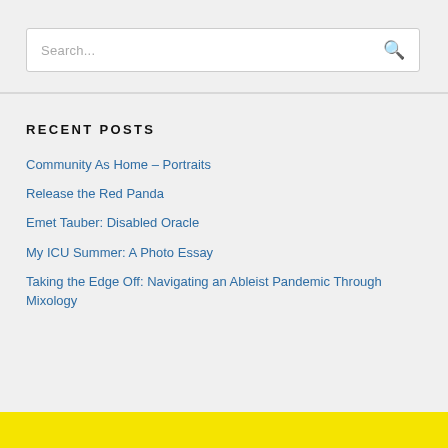[Figure (screenshot): Search bar with placeholder text 'Search...' and a search icon on the right]
RECENT POSTS
Community As Home – Portraits
Release the Red Panda
Emet Tauber: Disabled Oracle
My ICU Summer: A Photo Essay
Taking the Edge Off: Navigating an Ableist Pandemic Through Mixology